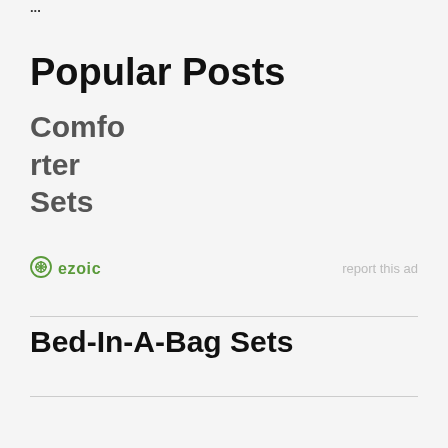...
Popular Posts
Comforter Sets
[Figure (logo): Ezoic logo with green circular icon and 'ezoic' text, with 'report this ad' link on right]
Bed-In-A-Bag Sets